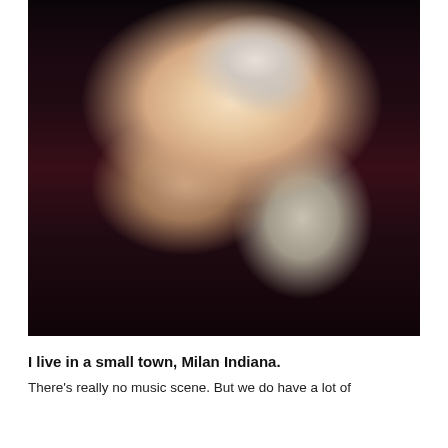[Figure (photo): Close-up portrait photo of a blonde woman smiling, wearing a sparkly sequined top and a chandelier earring in the shape of a cross with dangling gems. Her hair is flowing and she is looking downward slightly to the left.]
I live in a small town, Milan Indiana.
There's really no music scene. But we do have a lot of